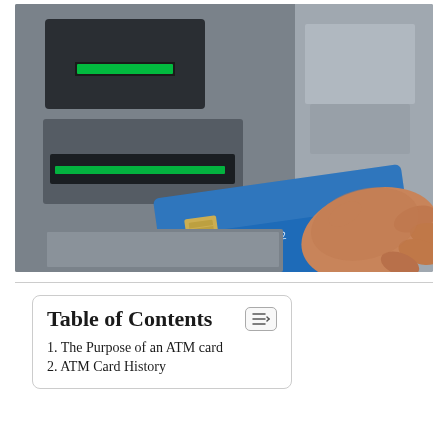[Figure (photo): A hand inserting a blue credit/ATM card into an ATM machine card slot. The ATM is silver/grey metal with a green light strip above the card slot.]
1. The Purpose of an ATM card
2. ATM Card History